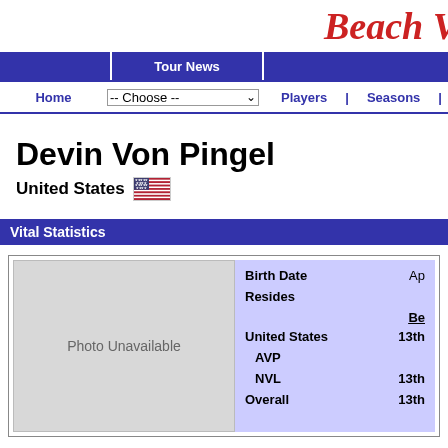Beach V (logo/header)
Tour News | Home | -- Choose -- | Players | Seasons |
Devin Von Pingel
United States 🇺🇸
Vital Statistics
|  | Be... |  |
| --- | --- | --- |
| Photo Unavailable | Birth Date | Ap... |
|  | Resides |  |
|  | Be... |  |
|  | United States | 13th |
|  | AVP |  |
|  | NVL | 13th |
|  | Overall | 13th |